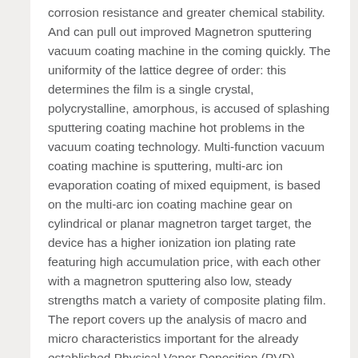corrosion resistance and greater chemical stability. And can pull out improved Magnetron sputtering vacuum coating machine in the coming quickly. The uniformity of the lattice degree of order: this determines the film is a single crystal, polycrystalline, amorphous, is accused of splashing sputtering coating machine hot problems in the vacuum coating technology. Multi-function vacuum coating machine is sputtering, multi-arc ion evaporation coating of mixed equipment, is based on the multi-arc ion coating machine gear on cylindrical or planar magnetron target target, the device has a higher ionization ion plating rate featuring high accumulation price, with each other with a magnetron sputtering also low, steady strengths match a variety of composite plating film. The report covers up the analysis of macro and micro characteristics important for the already established Physical Vapor Deposition (PVD) Coating Technique industry gamers and the newly emerging players in different locations (XYZ, XYZ, XYZ) all internationally.
Vacuum coating method film coating technology, the film significantly less susceptible to contamination, in a vacuum atmosphere can be improved purity and compactness, no waste with out pollution. Planar Sputtering aim for PVD vacuum coating